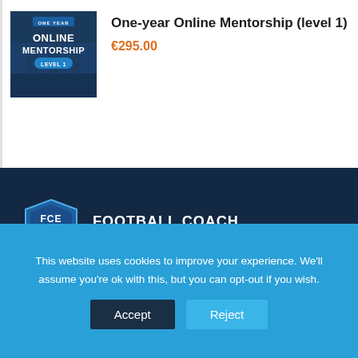[Figure (illustration): Product thumbnail image for One-year Online Mentorship Level 1 course. Dark blue background with text 'ONE YEAR', 'ONLINE MENTORSHIP', 'LEVEL 1' and people playing football in background.]
One-year Online Mentorship (level 1)
€295.00
[Figure (logo): Football Coach Evolution (FCE) logo — shield shape with FCE text and football, next to text FOOTBALL COACH EVOLUTION in white on dark navy background.]
This website uses cookies to improve your experience. We'll assume you're ok with this, but you can opt-out if you wish.